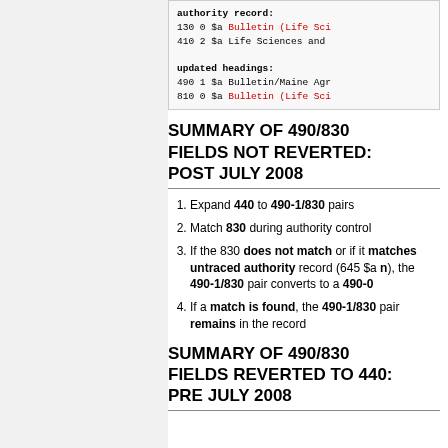[Figure (other): Code box showing authority record fields with bold labels and red highlighted values. Shows: authority record: 130 0 $a Bulletin (Life Sci [red], 410 2 $a Life Sciences and [continues off-page], updated headings: 490 1 $a Bulletin/Maine Agr [continues off-page], 810 0 $a Bulletin (Life Sci [red, continues off-page]]
SUMMARY OF 490/830 FIELDS NOT REVERTED: POST JULY 2008
Expand 440 to 490-1/830 pairs
Match 830 during authority control
If the 830 does not match or if it matches untraced authority record (645 $a n), the 490-1/830 pair converts to a 490-0
If a match is found, the 490-1/830 pair remains in the record
SUMMARY OF 490/830 FIELDS REVERTED TO 440: PRE JULY 2008